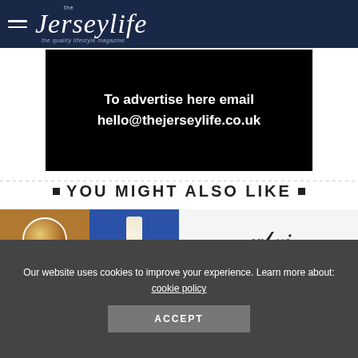the Jerseylife – the quality lifestyle magazine
[Figure (infographic): Black advertisement banner with white bold text: 'To advertise here email hello@thejerseylife.co.uk']
YOU MIGHT ALSO LIKE
[Figure (photo): Two thumbnail images side by side: left shows food/drink items on an orange and blue background; right shows decorative text or logo on light background]
Our website uses cookies to improve your experience. Learn more about: cookie policy
ACCEPT